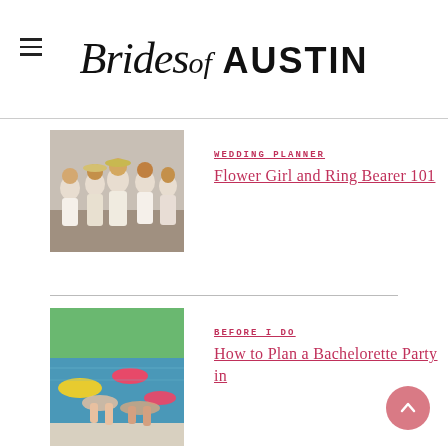Brides of Austin
[Figure (photo): Group of children dressed in white and beige wedding attire standing together]
Wedding Planner
Flower Girl and Ring Bearer 101
[Figure (photo): People relaxing by a swimming pool with colorful pool floats]
Before I Do
How to Plan a Bachelorette Party in